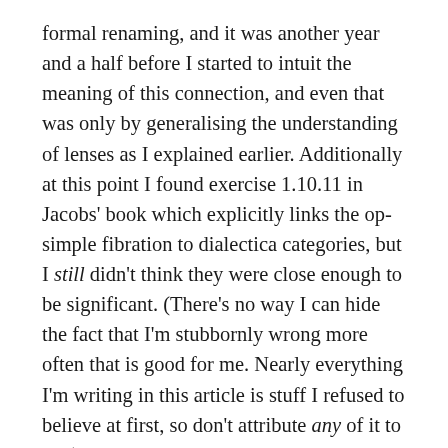formal renaming, and it was another year and a half before I started to intuit the meaning of this connection, and even that was only by generalising the understanding of lenses as I explained earlier. Additionally at this point I found exercise 1.10.11 in Jacobs' book which explicitly links the op-simple fibration to dialectica categories, but I still didn't think they were close enough to be significant. (There's no way I can hide the fact that I'm stubbornly wrong more often that is good for me. Nearly everything I'm writing in this article is stuff I refused to believe at first, so don't attribute any of it to me.)
There's a catch to calling these things 'lenses'